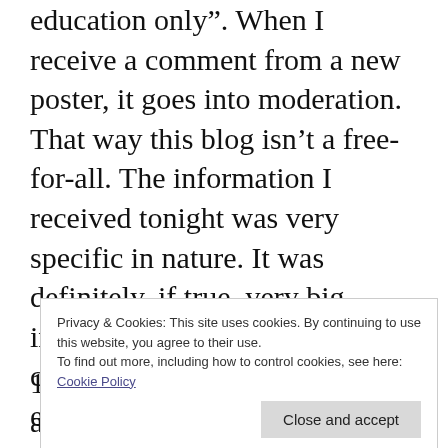education only”.  When I receive a comment from a new poster, it goes into moderation.  That way this blog isn’t a free-for-all.  The information I received tonight was very specific in nature.  It was definitely, if true, very big information.  One that could change the landscape of education in Delaware.  But I need more than your say-so and an email address that isn’t real.  Cause I did
Privacy & Cookies: This site uses cookies. By continuing to use this website, you agree to their use.
To find out more, including how to control cookies, see here: Cookie Policy
1) The information is very real and you